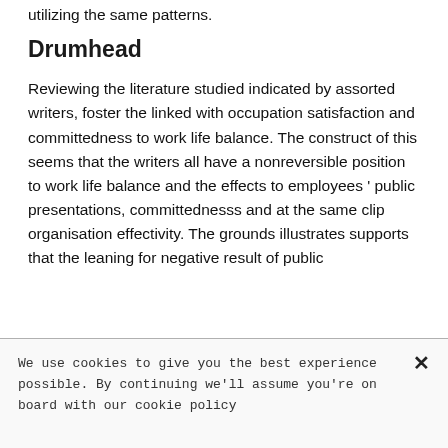utilizing the same patterns.
Drumhead
Reviewing the literature studied indicated by assorted writers, foster the linked with occupation satisfaction and committedness to work life balance. The construct of this seems that the writers all have a nonreversible position to work life balance and the effects to employees ' public presentations, committednesss and at the same clip organisation effectivity. The grounds illustrates supports that the leaning for negative result of public
We use cookies to give you the best experience possible. By continuing we'll assume you're on board with our cookie policy